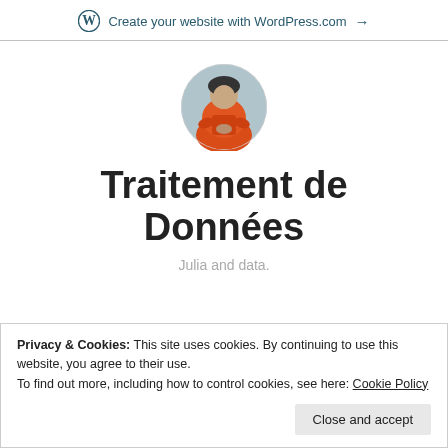Create your website with WordPress.com →
[Figure (photo): Circular profile photo of a person wearing an orange jacket, outdoors.]
Traitement de Données
Julia and data.
Privacy & Cookies: This site uses cookies. By continuing to use this website, you agree to their use. To find out more, including how to control cookies, see here: Cookie Policy
Close and accept